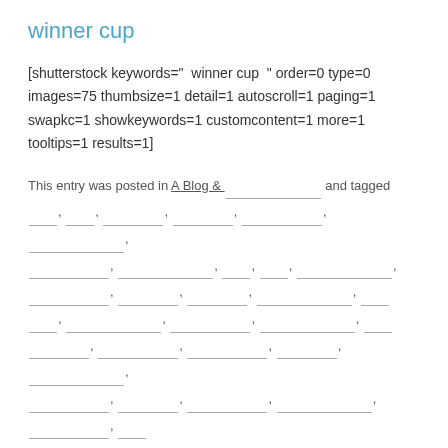winner cup
[shutterstock keywords=" winner cup " order=0 type=0 images=75 thumbsize=1 detail=1 autoscroll=1 paging=1 swapkc=1 showkeywords=1 customcontent=1 more=1 tooltips=1 results=1]
This entry was posted in A Blog & ___ and tagged ___, ____, ________, _______, _________________, _______________,  _____________, ________________, ____, ____, _______________,  ____________, ________, ________, _______________, ______ ____, ______________, _____________, _______________, ____ ______, _________, _______________, _____________, ______, _____, _____________, _____________, ______________, _____________, _____, _______, ____ _________, ___________, _____, ____________, _________, _____________, _____________, ____, _______, __________, _________, ____________, _____, _______, ____,